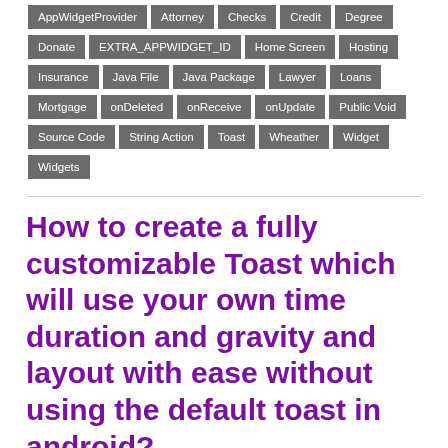AppWidgetProvider, Attorney, Checks, Credit, Degree, Donate, EXTRA_APPWIDGET_ID, Home Screen, Hosting, Insurance, Java File, Java Package, Lawyer, Loans, Mortgage, onDeleted, onReceive, onUpdate, Public Void, Source Code, String Action, Toast, Wheather, Widget, Widgets
How to create a fully customizable Toast which will use your own time duration and gravity and layout with ease without using the default toast in android?